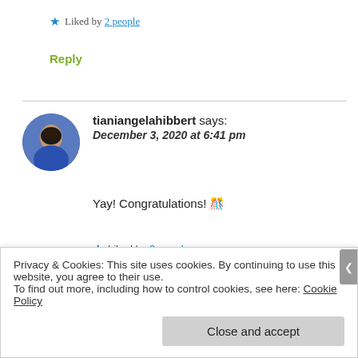★ Liked by 2 people
Reply
tianiangelahibbert says: December 3, 2020 at 6:41 pm
Yay! Congratulations! 🎊
★ Liked by 3 people
Privacy & Cookies: This site uses cookies. By continuing to use this website, you agree to their use. To find out more, including how to control cookies, see here: Cookie Policy
Close and accept